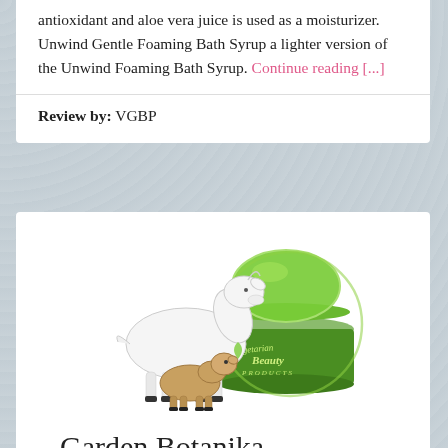antioxidant and aloe vera juice is used as a moisturizer. Unwind Gentle Foaming Bath Syrup a lighter version of the Unwind Foaming Bath Syrup. Continue reading [...]
Review by: VGBP
[Figure (logo): Vegetarian Beauty Products logo featuring a white goat, a small brown baby goat, and a green cosmetic jar with dome lid labeled 'Vegetarian Beauty Products']
Garden Botanika